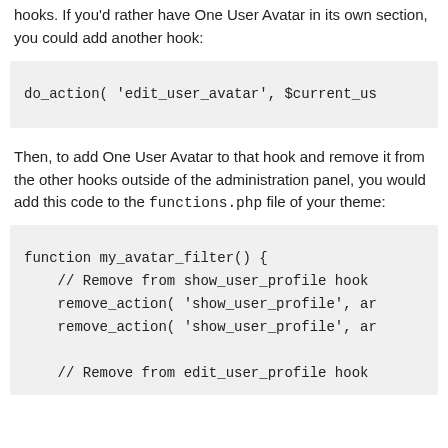hooks. If you'd rather have One User Avatar in its own section, you could add another hook:
do_action( 'edit_user_avatar', $current_us
Then, to add One User Avatar to that hook and remove it from the other hooks outside of the administration panel, you would add this code to the functions.php file of your theme:
function my_avatar_filter() {
    // Remove from show_user_profile hook
    remove_action( 'show_user_profile', a
    remove_action( 'show_user_profile', a

    // Remove from edit_user_profile hook